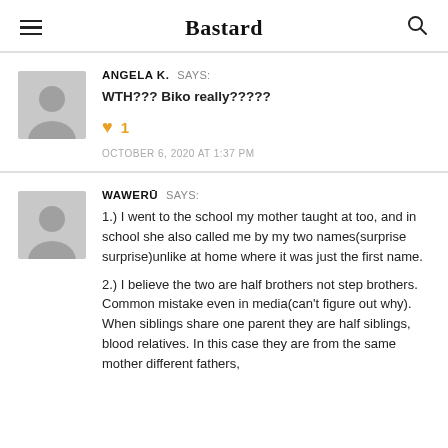Bastard
ANGELA K. SAYS:
WTH??? Biko really?????
1
OCTOBER 6, 2020 AT 1:37 PM
WAWERŪ SAYS:
1.) I went to the school my mother taught at too, and in school she also called me by my two names(surprise surprise)unlike at home where it was just the first name.
2.) I believe the two are half brothers not step brothers. Common mistake even in media(can't figure out why). When siblings share one parent they are half siblings, blood relatives. In this case they are from the same mother different fathers,